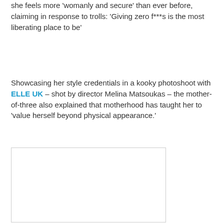she feels more 'womanly and secure' than ever before, claiming in response to trolls: 'Giving zero f***s is the most liberating place to be'
Showcasing her style credentials in a kooky photoshoot with ELLE UK – shot by director Melina Matsoukas – the mother-of-three also explained that motherhood has taught her to 'value herself beyond physical appearance.'
[Figure (photo): A photo placeholder box with a light border, representing an image from the ELLE UK photoshoot.]